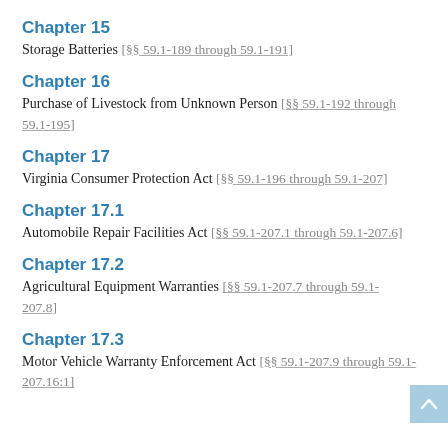Chapter 15
Storage Batteries [§§ 59.1-189 through 59.1-191]
Chapter 16
Purchase of Livestock from Unknown Person [§§ 59.1-192 through 59.1-195]
Chapter 17
Virginia Consumer Protection Act [§§ 59.1-196 through 59.1-207]
Chapter 17.1
Automobile Repair Facilities Act [§§ 59.1-207.1 through 59.1-207.6]
Chapter 17.2
Agricultural Equipment Warranties [§§ 59.1-207.7 through 59.1-207.8]
Chapter 17.3
Motor Vehicle Warranty Enforcement Act [§§ 59.1-207.9 through 59.1-207.16:1]